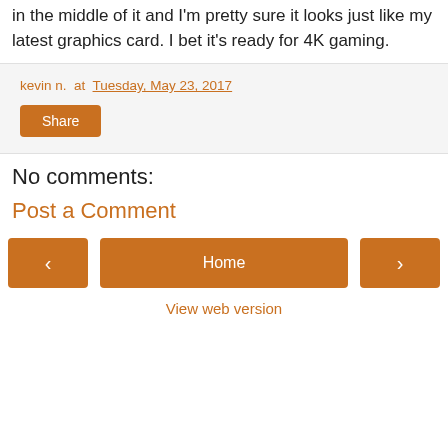in the middle of it and I'm pretty sure it looks just like my latest graphics card. I bet it's ready for 4K gaming.
kevin n. at Tuesday, May 23, 2017
Share
No comments:
Post a Comment
< Home > View web version